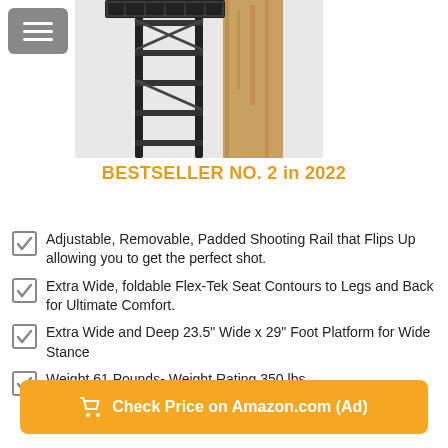[Figure (photo): Product photo of a tree stand (ladder stand) mounted on a tree trunk with metal frame and mesh platform]
BESTSELLER NO. 2 in 2022
Adjustable, Removable, Padded Shooting Rail that Flips Up allowing you to get the perfect shot.
Extra Wide, foldable Flex-Tek Seat Contours to Legs and Back for Ultimate Comfort.
Extra Wide and Deep 23.5" Wide x 29" Foot Platform for Wide Stance
Weight 61 Pounds- Weight Rating 350 lbs.
Check Price on Amazon.com (Ad)